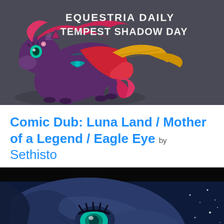[Figure (illustration): Equestria Daily Tempest Shadow Day banner featuring a purple pony character (Tempest Shadow) in a dynamic pose on a dark grey background, with stylized white text reading 'EQUESTRIA DAILY TEMPEST SHADOW DAY']
Comic Dub: Luna Land / Mother of a Legend / Eagle Eye by Sethisto
[Figure (illustration): Close-up illustration of a dark blue pony face (Princess Luna) with teal eyes against a dark blue night sky background with stars]